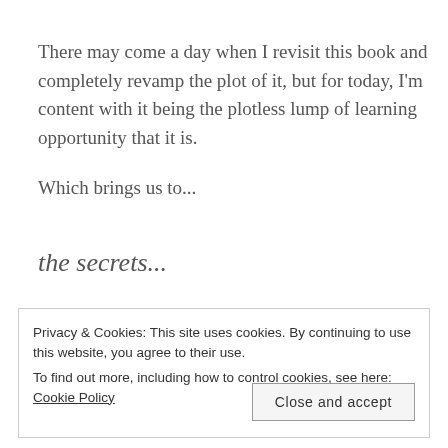There may come a day when I revisit this book and completely revamp the plot of it, but for today, I'm content with it being the plotless lump of learning opportunity that it is.
Which brings us to...
the secrets...
Privacy & Cookies: This site uses cookies. By continuing to use this website, you agree to their use.
To find out more, including how to control cookies, see here: Cookie Policy